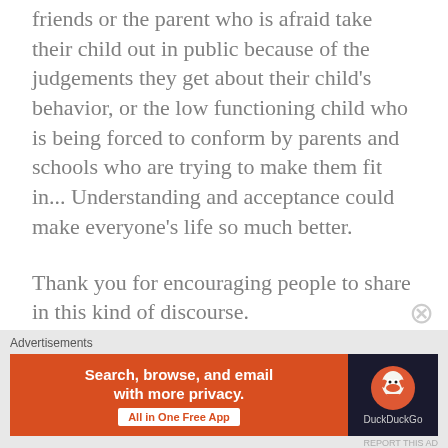friends or the parent who is afraid take their child out in public because of the judgements they get about their child's behavior, or the low functioning child who is being forced to conform by parents and schools who are trying to make them fit in... Understanding and acceptance could make everyone's life so much better.
Thank you for encouraging people to share in this kind of discourse.
★ Like
[Figure (screenshot): DuckDuckGo advertisement banner: orange left panel with text 'Search, browse, and email with more privacy. All in One Free App' and dark right panel with DuckDuckGo duck logo and brand name.]